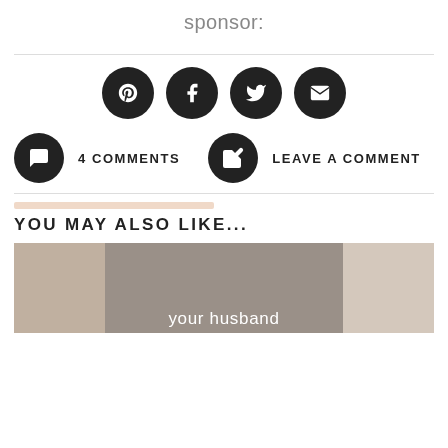Check out this month's featured sponsor:
[Figure (infographic): Four social media share buttons (Pinterest, Facebook, Twitter, Email) as dark circular icons in a row]
4 COMMENTS
LEAVE A COMMENT
YOU MAY ALSO LIKE...
[Figure (photo): Three thumbnail images side by side; the middle one shows a woman smiling with text 'your husband' overlaid]